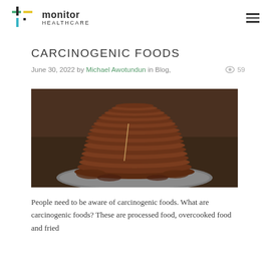monitor HEALTHCARE
CARCINOGENIC FOODS
June 30, 2022 by Michael Awotundun in Blog,   59
[Figure (photo): Stack of dried/processed meat slices piled high on a dark plate, close-up food photography with dark wooden background]
People need to be aware of carcinogenic foods. What are carcinogenic foods? These are processed food, overcooked food and fried